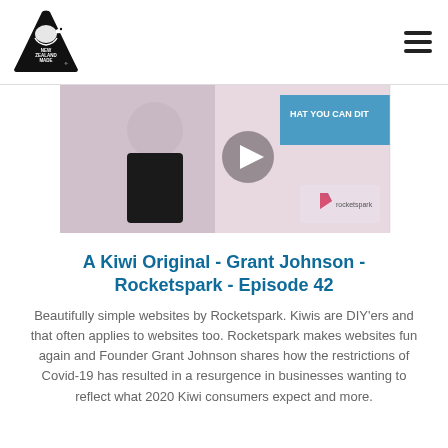[Figure (logo): New Zealand Made logo - black triangular shape with kiwi bird silhouette and text NEW ZEALAND MADE with registered trademark symbol]
[Figure (screenshot): Video thumbnail showing a man in black t-shirt in front of a screen with text 'HAT YOU CAN DI' visible, with a play button overlay and Rocketspark logo]
A Kiwi Original - Grant Johnson - Rocketspark - Episode 42
Beautifully simple websites by Rocketspark. Kiwis are DIY'ers and that often applies to websites too. Rocketspark makes websites fun again and Founder Grant Johnson shares how the restrictions of Covid-19 has resulted in a resurgence in businesses wanting to reflect what 2020 Kiwi consumers expect and more.